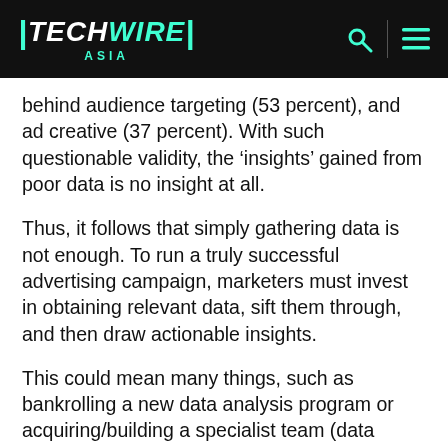TechWire Asia
behind audience targeting (53 percent), and ad creative (37 percent). With such questionable validity, the ‘insights’ gained from poor data is no insight at all.
Thus, it follows that simply gathering data is not enough. To run a truly successful advertising campaign, marketers must invest in obtaining relevant data, sift them through, and then draw actionable insights.
This could mean many things, such as bankrolling a new data analysis program or acquiring/building a specialist team (data engineers, data scientists) especially tasked to manage data.